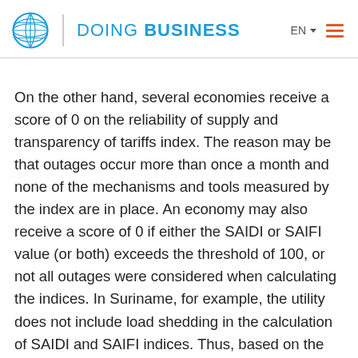DOING BUSINESS
On the other hand, several economies receive a score of 0 on the reliability of supply and transparency of tariffs index. The reason may be that outages occur more than once a month and none of the mechanisms and tools measured by the index are in place. An economy may also receive a score of 0 if either the SAIDI or SAIFI value (or both) exceeds the threshold of 100, or not all outages were considered when calculating the indices. In Suriname, for example, the utility does not include load shedding in the calculation of SAIDI and SAIFI indices. Thus, based on the criteria established, Suriname cannot receive a score on the index even though the utility uses automated systems for monitoring outages and restoration of power supply and there is a transparency